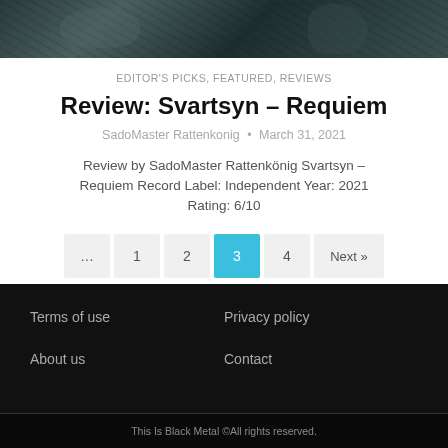[Figure (photo): Dark atmospheric image, appears to be metal/dark fantasy artwork with muted teal and grey tones]
EDITOR'S PICKS, FEATURED, REVIEWS
Review: Svartsyn – Requiem
SadoMaster Rattenkonig • March 31, 2021
Review by SadoMaster Rattenkönig Svartsyn – Requiem Record Label: Independent Year: 2021 Rating: 6/10
… 1 2 3 4 Next »
Terms of use
Privacy policy
About us
Contact
This Is Black Metal ©All rights reserved.